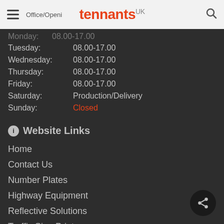tennants UK
| Day | Hours |
| --- | --- |
| Tuesday: | 08.00-17.00 |
| Wednesday: | 08.00-17.00 |
| Thursday: | 08.00-17.00 |
| Friday: | 08.00-17.00 |
| Saturday: | Production/Delivery |
| Sunday: | Closed |
Website Links
Home
Contact Us
Number Plates
Highway Equipment
Reflective Solutions
Traffic Sign Printers